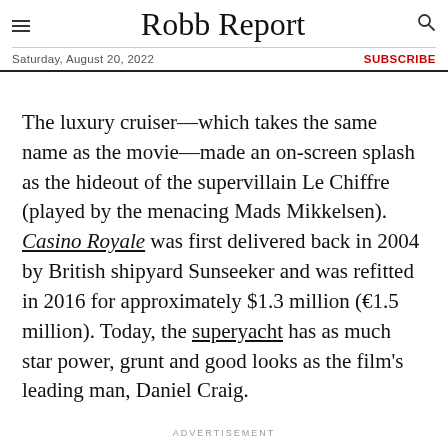Robb Report
Saturday, August 20, 2022  SUBSCRIBE
The luxury cruiser—which takes the same name as the movie—made an on-screen splash as the hideout of the supervillain Le Chiffre (played by the menacing Mads Mikkelsen). Casino Royale was first delivered back in 2004 by British shipyard Sunseeker and was refitted in 2016 for approximately $1.3 million (€1.5 million). Today, the superyacht has as much star power, grunt and good looks as the film's leading man, Daniel Craig.
ADVERTISEMENT